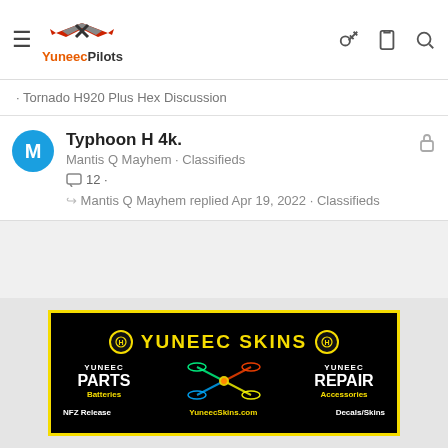YuneecPilots
· Tornado H920 Plus Hex Discussion
Typhoon H 4k.
Mantis Q Mayhem · Classifieds
12 ·
Mantis Q Mayhem replied Apr 19, 2022 · Classifieds
[Figure (photo): Yuneec Skins advertisement banner. Black background with yellow border. Shows YUNEEC SKINS brand name, YUNEEC PARTS, YUNEEC REPAIR, Batteries, Accessories, NFZ Release, YuneecSkins.com, Decals/Skins, with drone graphic in center.]